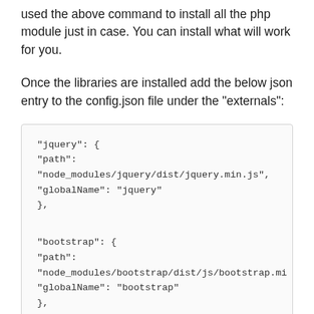used the above command to install all the php module just in case. You can install what will work for you.
Once the libraries are installed add the below json entry to the config.json file under the "externals":
[Figure (other): Code block showing JSON configuration entries for jquery, bootstrap, and tooltipster externals with path and globalName properties]